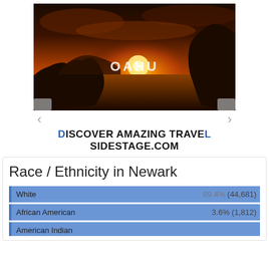[Figure (photo): Scenic sunset photo of Oahu coastline with rocky cliffs and ocean, labeled 'OAHU' in the center]
DISCOVER AMAZING TRAVEL SIDESTAGE.COM
Race / Ethnicity in Newark
| Race/Ethnicity | Percentage | Count |
| --- | --- | --- |
| White | 89.4% | (44,681) |
| African American | 3.6% | (1,812) |
| American Indian |  |  |